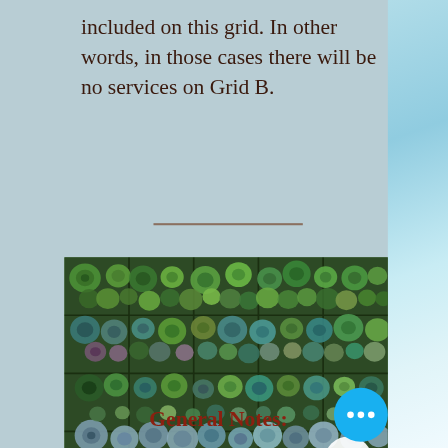included on this grid. In other words, in those cases there will be no services on Grid B.
[Figure (photo): A dense wall of succulent plants of various species, shapes and colors including green, blue-green, purple, and grey rosettes arranged in a grid pattern. A white circular scroll-up button with a caret/chevron icon is overlaid in the bottom-right corner of the image.]
General Notes: